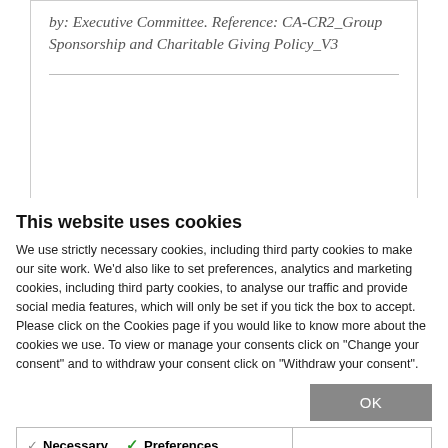by: Executive Committee. Reference: CA-CR2_Group Sponsorship and Charitable Giving Policy_V3
This website uses cookies
We use strictly necessary cookies, including third party cookies to make our site work. We'd also like to set preferences, analytics and marketing cookies, including third party cookies, to analyse our traffic and provide social media features, which will only be set if you tick the box to accept. Please click on the Cookies page if you would like to know more about the cookies we use. To view or manage your consents click on "Change your consent" and to withdraw your consent click on "Withdraw your consent".
OK
| Necessary | Preferences | Statistics | Show details |
| Marketing |  |  |  |